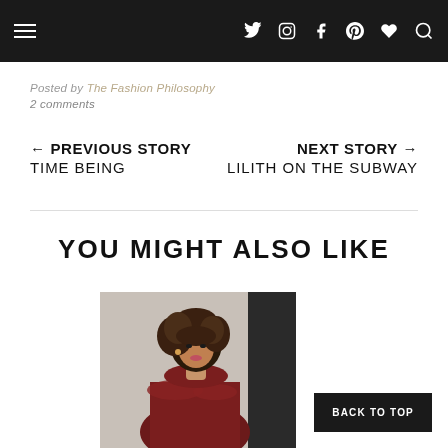Navigation header with hamburger menu and social icons
Posted by The Fashion Philosophy
2 comments
← PREVIOUS STORY TIME BEING
NEXT STORY → LILITH ON THE SUBWAY
YOU MIGHT ALSO LIKE
[Figure (photo): Woman with curly hair wearing a deep red/burgundy off-shoulder velvet ruffled dress]
BACK TO TOP